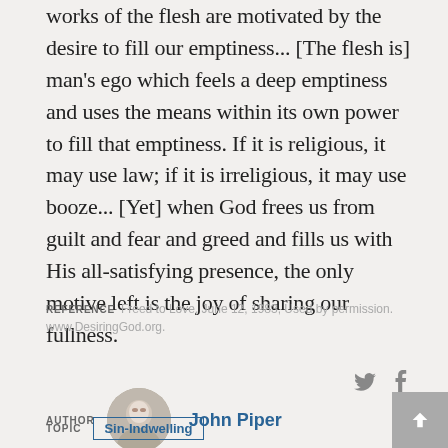works of the flesh are motivated by the desire to fill our emptiness... [The flesh is] man's ego which feels a deep emptiness and uses the means within its own power to fill that emptiness. If it is religious, it may use law; if it is irreligious, it may use booze... [Yet] when God frees us from guilt and fear and greed and fills us with His all-satisfying presence, the only motive left is the joy of sharing our fullness.
REFERENCE   Freed to Love, June 12, 1983, Used by permission. www.DesiringGod.org.
AUTHOR   John Piper
TOPIC   Sin-Indwelling